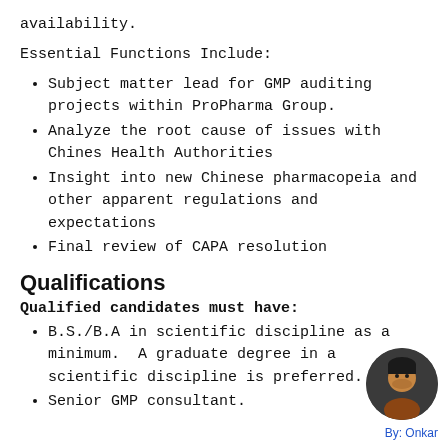availability.
Essential Functions Include:
Subject matter lead for GMP auditing projects within ProPharma Group.
Analyze the root cause of issues with Chines Health Authorities
Insight into new Chinese pharmacopeia and other apparent regulations and expectations
Final review of CAPA resolution
Qualifications
Qualified candidates must have:
B.S./B.A in scientific discipline as a minimum.  A graduate degree in a scientific discipline is preferred.
Senior GMP consultant.
By: Onkar